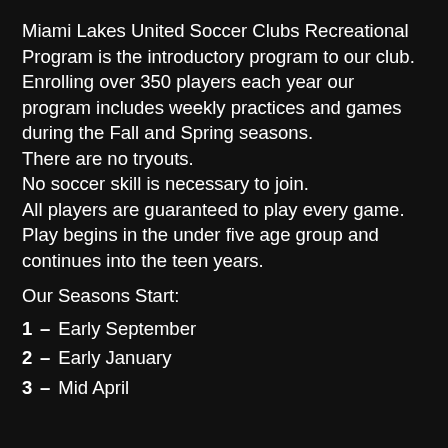Miami Lakes United Soccer Clubs Recreational Program is the introductory program to our club. Enrolling over 350 players each year our program includes weekly practices and games during the Fall and Spring seasons. There are no tryouts. No soccer skill is necessary to join. All players are guaranteed to play every game. Play begins in the under five age group and continues into the teen years.
Our Seasons Start:
1 – Early September
2 – Early January
3 – Mid April